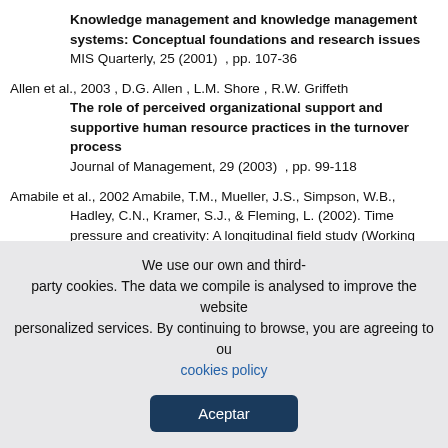Knowledge management and knowledge management systems: Conceptual foundations and research issues
MIS Quarterly, 25 (2001) , pp. 107-36
Allen et al., 2003 , D.G. Allen , L.M. Shore , R.W. Griffeth
The role of perceived organizational support and supportive human resource practices in the turnover process
Journal of Management, 29 (2003) , pp. 99-118
Amabile et al., 2002 Amabile, T.M., Mueller, J.S., Simpson, W.B., Hadley, C.N., Kramer, S.J., & Fleming, L. (2002). Time pressure and creativity: A longitudinal field study (Working Paper No. 02-073). Retrieved from h t t p & # 5 8 ; & # 4 7 ; & # 4 7 ; w w w & # 4 6 ; h b s & # 4 6 ; e d u & # 4 7 ; f a c u l t y & # 4 7 ; P u b l ication%20Files/02-073_03f1ecea-789d-4ce1-b594-
We use our own and third-party cookies. The data we compile is analysed to improve the website personalized services. By continuing to browse, you are agreeing to our cookies policy